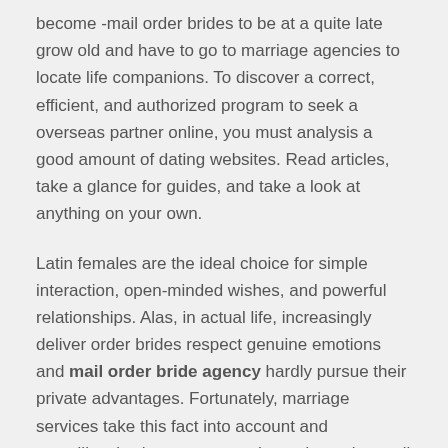become -mail order brides to be at a quite late grow old and have to go to marriage agencies to locate life companions. To discover a correct, efficient, and authorized program to seek a overseas partner online, you must analysis a good amount of dating websites. Read articles, take a glance for guides, and take a look at anything on your own.
Latin females are the ideal choice for simple interaction, open-minded wishes, and powerful relationships. Alas, in actual life, increasingly deliver order brides respect genuine emotions and mail order bride agency hardly pursue their private advantages. Fortunately, marriage services take this fact into account and punctiliously choose trustworthy and genuine mail buy brides. In case you are lucky acceptable to purchase a spouse, you presumably can be sure that you've